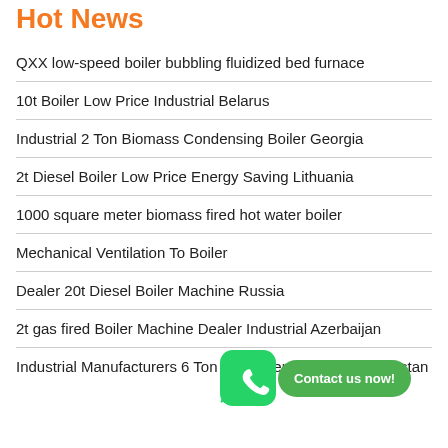Hot News
QXX low-speed boiler bubbling fluidized bed furnace
10t Boiler Low Price Industrial Belarus
Industrial 2 Ton Biomass Condensing Boiler Georgia
2t Diesel Boiler Low Price Energy Saving Lithuania
1000 square meter biomass fired hot water boiler
Mechanical Ventilation To Boiler
Dealer 20t Diesel Boiler Machine Russia
2t gas fired Boiler Machine Dealer Industrial Azerbaijan
Industrial Manufacturers 6 Ton Oil Powered Boiler Kazakhstan
[Figure (other): WhatsApp contact button overlay with green phone icon and 'Contact us now!' button]